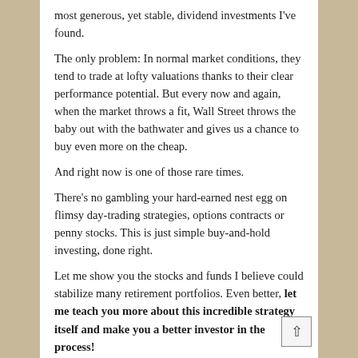most generous, yet stable, dividend investments I've found.
The only problem: In normal market conditions, they tend to trade at lofty valuations thanks to their clear performance potential. But every now and again, when the market throws a fit, Wall Street throws the baby out with the bathwater and gives us a chance to buy even more on the cheap.
And right now is one of those rare times.
There's no gambling your hard-earned nest egg on flimsy day-trading strategies, options contracts or penny stocks. This is just simple buy-and-hold investing, done right.
Let me show you the stocks and funds I believe could stabilize many retirement portfolios. Even better, let me teach you more about this incredible strategy itself and make you a better investor in the process!